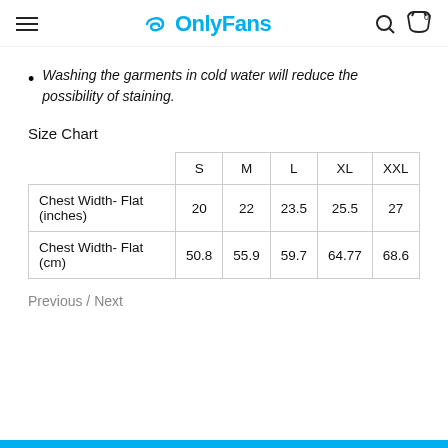OnlyFans
Washing the garments in cold water will reduce the possibility of staining.
Size Chart
|  | S | M | L | XL | XXL |
| --- | --- | --- | --- | --- | --- |
| Chest Width- Flat (inches) | 20 | 22 | 23.5 | 25.5 | 27 |
| Chest Width- Flat (cm) | 50.8 | 55.9 | 59.7 | 64.77 | 68.6 |
Previous / Next